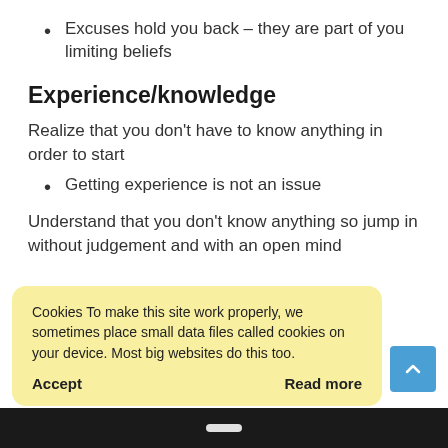Excuses hold you back – they are part of you limiting beliefs
Experience/knowledge
Realize that you don't have to know anything in order to start
Getting experience is not an issue
Understand that you don't know anything so jump in without judgement and with an open mind
Cookies To make this site work properly, we sometimes place small data files called cookies on your device. Most big websites do this too.
Accept
Read more